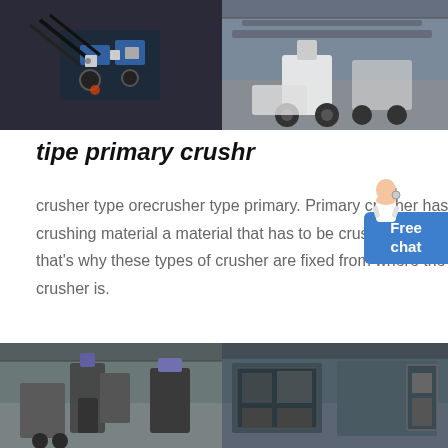[Figure (photo): Two photos side by side: left shows robotic/mechanical equipment with cables and blue hydraulic parts; right shows construction vehicles in an industrial warehouse]
tipe primary crushr
crusher type orecrusher type primary. Primary crusher has the ability to receive the crushing material a material that has to be crushed directly from the source i e quarry that's why these types of crusher are fixed from where the material is taken Primary crusher is.
[Figure (illustration): Customer service avatar - woman in white with headset]
Free chat
الحصول على السعر →
[Figure (photo): Two industrial crusher machines side by side in a factory/warehouse setting]